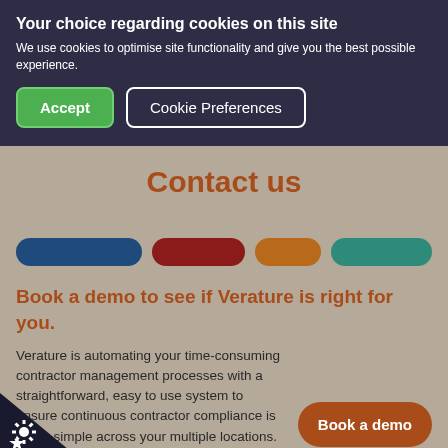Your choice regarding cookies on this site
We use cookies to optimise site functionality and give you the best possible experience.
[Figure (screenshot): Accept button (green, rounded rectangle) and Cookie Preferences button (dark background, white border, rounded rectangle)]
Contact us
[Figure (infographic): A row of four pill-shaped navigation elements: dark blue, dark red, orange, and teal]
Book a demo to see if Verature is right for you.
Verature is automating your time-consuming contractor management processes with a straightforward, easy to use system to ensure continuous contractor compliance is made simple across your multiple locations.
[Figure (infographic): Book a demo button — rounded rectangle with brown/orange background and white bold text]